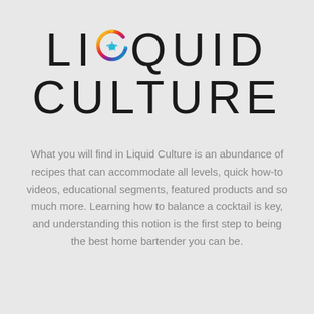[Figure (logo): Liquid Culture logo with rainbow circular ring graphic between LI and QU in LIQUID, and text LIQUID CULTURE in large thin sans-serif letters]
What you will find in Liquid Culture is an abundance of recipes that can accommodate all levels, quick how-to videos, educational segments, featured products and so much more. Learning how to balance a cocktail is key, and understanding this notion is the first step to being the best home bartender you can be.